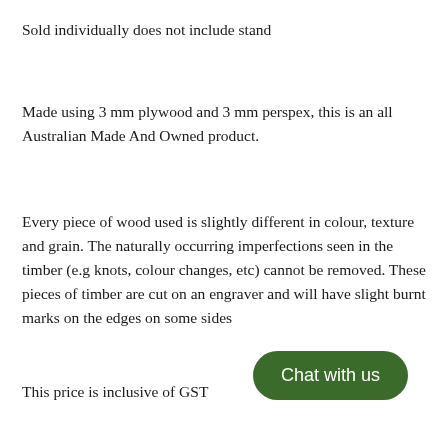Sold individually does not include stand
Made using 3 mm plywood and 3 mm perspex, this is an all Australian Made And Owned product.
Every piece of wood used is slightly different in colour, texture and grain. The naturally occurring imperfections seen in the timber (e.g knots, colour changes, etc) cannot be removed. These pieces of timber are cut on an engraver and will have slight burnt marks on the edges on some sides
This price is inclusive of GST
[Figure (other): Green rounded rectangle button with white text reading 'Chat with us']